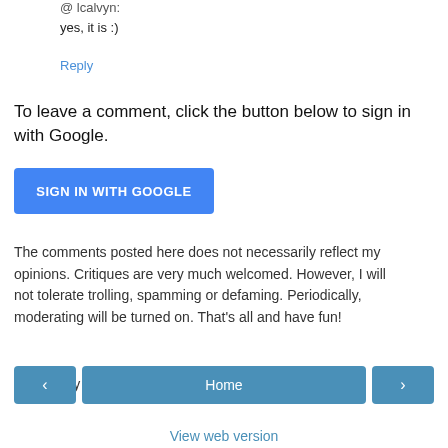@lcalvyn:
yes, it is :)
Reply
To leave a comment, click the button below to sign in with Google.
[Figure (other): Blue button labeled SIGN IN WITH GOOGLE]
The comments posted here does not necessarily reflect my opinions. Critiques are very much welcomed. However, I will not tolerate trolling, spamming or defaming. Periodically, moderating will be turned on. That's all and have fun!
Note: Only a member of this blog may post a comment.
[Figure (other): Navigation bar with left arrow button, Home button, and right arrow button]
View web version